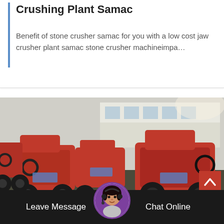Crushing Plant Samac
Benefit of stone crusher samac for you with a low cost jaw crusher plant samac stone crusher machineimpa…
[Figure (photo): Multiple red jaw crusher machines with black wheels arranged outdoors in a yard, with a building in the background.]
Leave Message
Chat Online